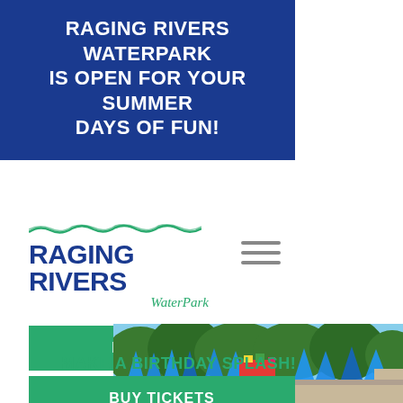RAGING RIVERS WATERPARK IS OPEN FOR YOUR SUMMER DAYS OF FUN!
[Figure (logo): Raging Rivers WaterPark logo with wave graphic above bold blue text and green italic WaterPark subtitle]
[Figure (other): Hamburger navigation menu icon (three horizontal lines)]
BUY PASSES
BUY TICKETS
MAKE A BIRTHDAY SPLASH!
[Figure (photo): Outdoor waterpark scene with blue umbrellas, colorful ride structure, green trees, and blue sky in background]